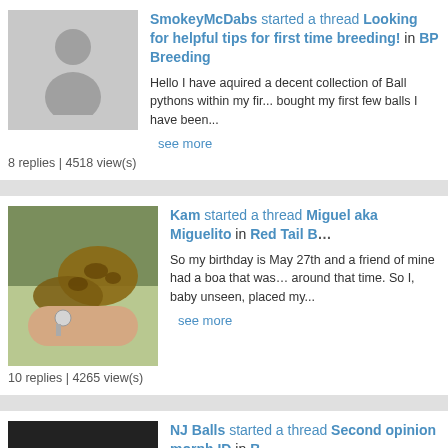SmokeyMcDabs started a thread Looking for helpful tips for first time breeding! in BP Breeding
Hello I have aquired a decent collection of Ball pythons within my first... bought my first few balls I have been...
see more
8 replies | 4518 view(s)
[Figure (photo): Snake coiled around a person's wrist outdoors on grass]
Kam started a thread Miguel aka Miguelito in Red Tail B...
So my birthday is May 27th and a friend of mine had a boa that was... around that time. So I, baby unseen, placed my...
see more
10 replies | 4265 view(s)
[Figure (photo): Ball python held in a hand showing morph pattern]
NJ Balls started a thread Second opinion morph ID in B...
Long story short I picked up the male BP a few years ago as a resc... ler or butter. I'm thinking he's just a...
see more
8 replies | 4656 view(s)
BallBoa started a thread I'm scared my BPs might have stage RI's in General BP's